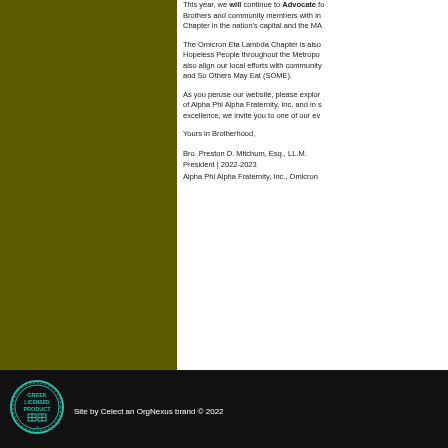This year, we will continue to Advocate for Brothers and community members with in our Chapter in the nation's capital and the MA...
The Omicron Eta Lambda Chapter is also... Hopeless People throughout the Metropo... also align our local efforts with community... and So Others May Eat (SOME).
As you peruse our website, please explor... of Alpha Phi Alpha Fraternity, Inc. and in s... excellence, we invite you to one of our ev...
Yours in Brotherhood,
Bro. Preston D. Mitchum, Esq., LL.M.
President | 2022-2023
Alpha Phi Alpha Fraternity, Inc., Omicron...
Site by Celect an OrgNexus brand © 2022